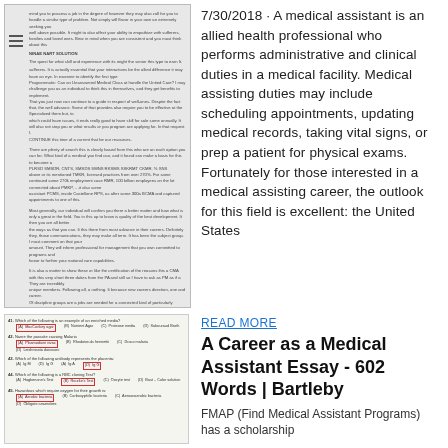[Figure (screenshot): Screenshot of a webpage with hamburger menu icon and small body text about medical assistant topics]
7/30/2018 · A medical assistant is an allied health professional who performs administrative and clinical duties in a medical facility. Medical assisting duties may include scheduling appointments, updating medical records, taking vital signs, or prep a patient for physical exams. Fortunately for those interested in a medical assisting career, the outlook for this field is excellent: the United States
[Figure (screenshot): Screenshot of a quiz/exam paper with multiple choice questions about medical topics, some answers highlighted in red boxes]
READ MORE
A Career as a Medical Assistant Essay - 602 Words | Bartleby
FMAP (Find Medical Assistant Programs) has a scholarship